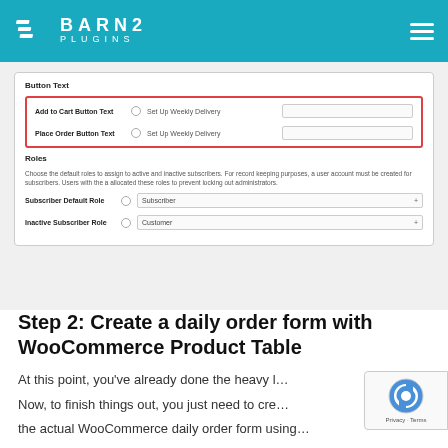[Figure (logo): Barn2 Plugins logo — white parallelogram icon with white text 'BARN2 PLUGINS' on teal background, hamburger menu icon top right]
[Figure (screenshot): WordPress admin settings screenshot showing Button Text section with red-bordered highlight around 'Add to Cart Button Text' set to 'Set Up Weekly Delivery' and 'Place Order Button Text' set to 'Set Up Weekly Delivery', followed by Roles section with 'Subscriber Default Role' set to 'Subscriber' and 'Inactive Subscriber Role' set to 'Customer']
Step 2: Create a daily order form with WooCommerce Product Table
At this point, you've already done the heavy l…
Now, to finish things out, you just need to cre…
the actual WooCommerce daily order form using…